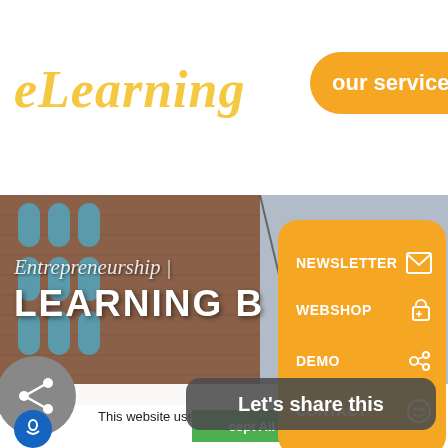eLearning
our services +
[Figure (screenshot): Hero image of a brick building with arched windows and gray sky background. Overlaid text reads 'Entrepreneurship' in italic and 'LEARNING B' in bold white uppercase.]
Entrepreneurship |
LEARNING B
NEWSLETTER
WEBSHOP
DEMO
CONTACT
This website uses cookies t
Let's share this
cept All
Settings